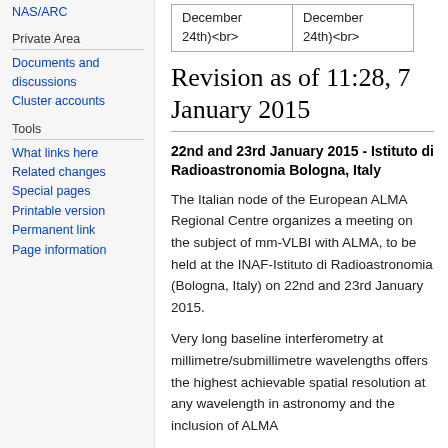NAS/ARC (partial link, top of sidebar)
Private Area
Documents and discussions
Cluster accounts
Tools
What links here
Related changes
Special pages
Printable version
Permanent link
Page information
| December
24th)<br> | December
24th)<br> |
Revision as of 11:28, 7 January 2015
22nd and 23rd January 2015 - Istituto di Radioastronomia Bologna, Italy
The Italian node of the European ALMA Regional Centre organizes a meeting on the subject of mm-VLBI with ALMA, to be held at the INAF-Istituto di Radioastronomia (Bologna, Italy) on 22nd and 23rd January 2015.
Very long baseline interferometry at millimetre/submillimetre wavelengths offers the highest achievable spatial resolution at any wavelength in astronomy and the inclusion of ALMA